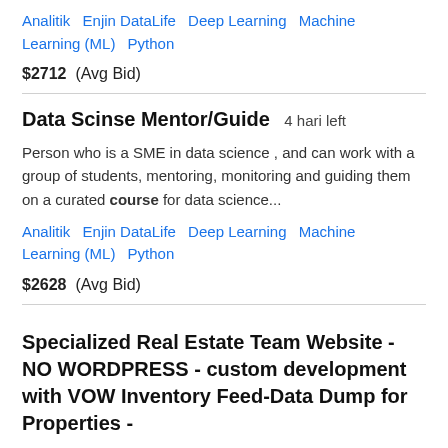Analitik   Enjin DataLife   Deep Learning   Machine Learning (ML)   Python
$2712  (Avg Bid)
Data Scinse Mentor/Guide   4 hari left
Person who is a SME in data science , and can work with a group of students, mentoring, monitoring and guiding them on a curated course for data science...
Analitik   Enjin DataLife   Deep Learning   Machine Learning (ML)   Python
$2628  (Avg Bid)
Specialized Real Estate Team Website - NO WORDPRESS - custom development with VOW Inventory Feed-Data Dump for Properties -